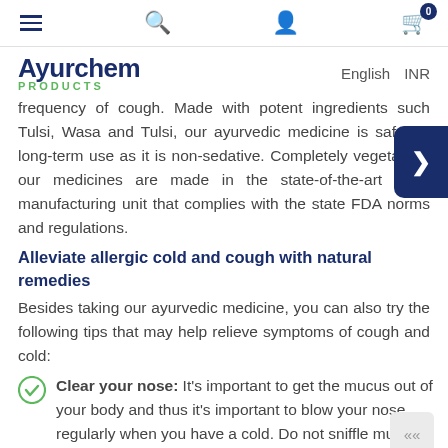Navigation bar with hamburger, search, user, and cart icons
[Figure (logo): Ayurchem Products logo with 'Ayurchem' in blue and 'PRODUCTS' in green]
English   INR
frequency of cough. Made with potent ingredients such Tulsi, Wasa and Tulsi, our ayurvedic medicine is safe for long-term use as it is non-sedative. Completely vegetarian, our medicines are made in the state-of-the-art GMP manufacturing unit that complies with the state FDA norms and regulations.
Alleviate allergic cold and cough with natural remedies
Besides taking our ayurvedic medicine, you can also try the following tips that may help relieve symptoms of cough and cold:
Clear your nose: It's important to get the mucus out of your body and thus it's important to blow your nose regularly when you have a cold. Do not sniffle mucus